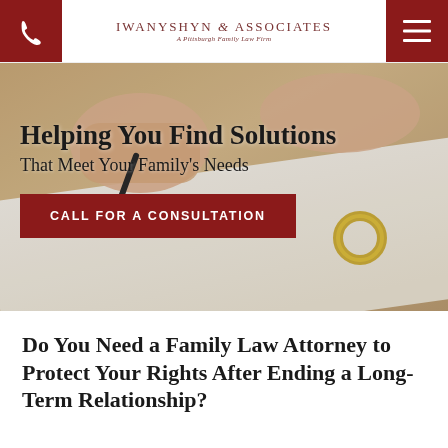Iwanyshyn & Associates — A Pittsburgh Family Law Firm
[Figure (photo): Close-up photo of hands signing a document with a wedding ring visible, used as hero background for a family law firm website]
Helping You Find Solutions
That Meet Your Family's Needs
CALL FOR A CONSULTATION
Do You Need a Family Law Attorney to Protect Your Rights After Ending a Long-Term Relationship?